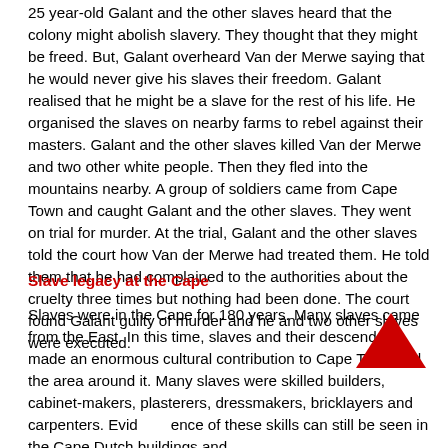25 year-old Galant and the other slaves heard that the colony might abolish slavery. They thought that they might be freed. But, Galant overheard Van der Merwe saying that he would never give his slaves their freedom. Galant realised that he might be a slave for the rest of his life. He organised the slaves on nearby farms to rebel against their masters. Galant and the other slaves killed Van der Merwe and two other white people. Then they fled into the mountains nearby. A group of soldiers came from Cape Town and caught Galant and the other slaves. They went on trial for murder. At the trial, Galant and the other slaves told the court how Van der Merwe had treated them. He told them that he had complained to the authorities about the cruelty three times but nothing had been done. The court found Galant guilty of murder and he and two other slaves were executed.
Slave legacy at the Cape
Slaves were in the Cape for 180 years. Many slaves came from the East. In this time, slaves and their descendants made an enormous cultural contribution to Cape Town and the area around it. Many slaves were skilled builders, cabinet-makers, plasterers, dressmakers, bricklayers and carpenters. Evidence of these skills can still be seen in the Cape Dutch buildings and